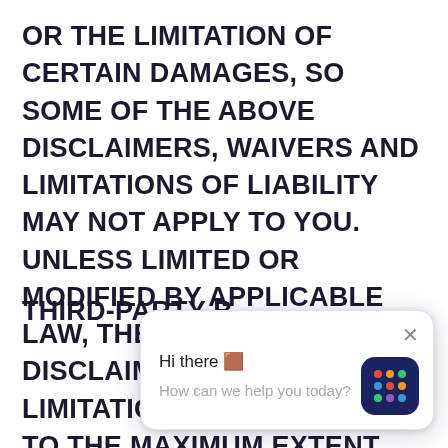OR THE LIMITATION OF CERTAIN DAMAGES, SO SOME OF THE ABOVE DISCLAIMERS, WAIVERS AND LIMITATIONS OF LIABILITY MAY NOT APPLY TO YOU. UNLESS LIMITED OR MODIFIED BY APPLICABLE LAW, THE FOREGOING DISCLAIMERS, WAIVERS AND LIMITATIONS SHALL APPLY TO THE MAXIMUM EXTENT PERMITTED, EVEN IF ANY REMEDY FAILS ITS ESSENTIAL PURPOSE. WORKJAM'S THIRD-PARTY SERVICE PROVIDERS LICENSORS AND SUPPLIERS ARE INTENDED THIRD-PARTY BE... DISCLAIMERS, W... ADVICE OR INF... WRITTEN, OBTAINED BY YOU THROUGH THE
[Figure (screenshot): Chat widget popup with greeting 'Hi there' and message 'How can we help you today?' with a dark blue rounded square avatar showing colorful dots, and an X close button.]